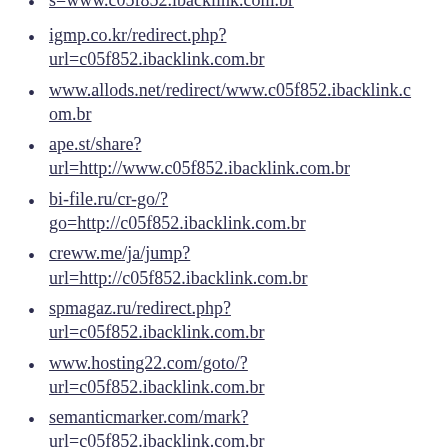s=www.c05f852.ibacklink.com.br
igmp.co.kr/redirect.php?url=c05f852.ibacklink.com.br
www.allods.net/redirect/www.c05f852.ibacklink.com.br
ape.st/share?url=http://www.c05f852.ibacklink.com.br
bi-file.ru/cr-go/?go=http://c05f852.ibacklink.com.br
creww.me/ja/jump?url=http://c05f852.ibacklink.com.br
spmagaz.ru/redirect.php?url=c05f852.ibacklink.com.br
www.hosting22.com/goto/?url=c05f852.ibacklink.com.br
semanticmarker.com/mark?url=c05f852.ibacklink.com.br
ukrmarket.net/away/?url=www.c05f852.ibacklink.com.br